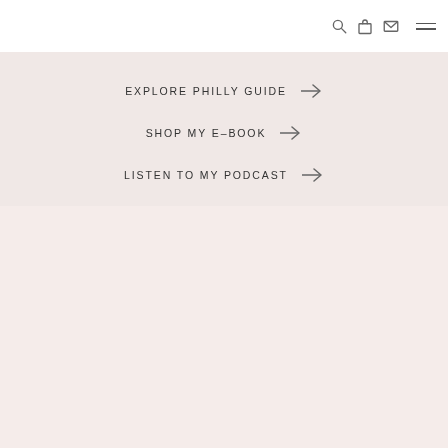Navigation header with search, bag, mail, and menu icons
EXPLORE PHILLY GUIDE →
SHOP MY E-BOOK →
LISTEN TO MY PODCAST →